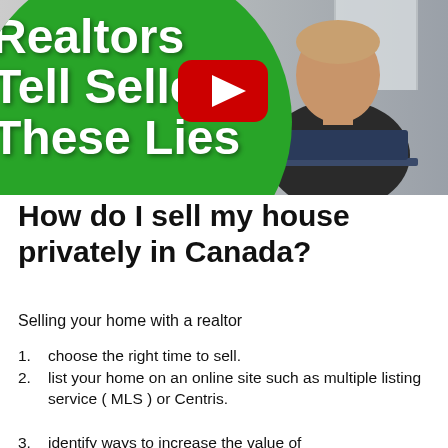[Figure (screenshot): YouTube video thumbnail showing a man sitting in front of a laptop with a green circle overlay containing white bold text reading 'Realtors Tell Sellers These Lies' and a YouTube play button icon in the center.]
How do I sell my house privately in Canada?
Selling your home with a realtor
choose the right time to sell.
list your home on an online site such as multiple listing service ( MLS ) or Centris.
identify ways to increase the value of